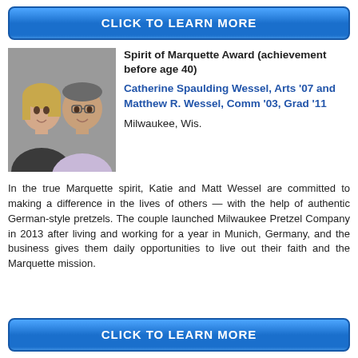CLICK TO LEARN MORE
[Figure (photo): Photo of Catherine Spaulding Wessel (blonde woman) and Matthew R. Wessel (man with glasses) posing together indoors]
Spirit of Marquette Award (achievement before age 40)
Catherine Spaulding Wessel, Arts '07 and Matthew R. Wessel, Comm '03, Grad '11
Milwaukee, Wis.
In the true Marquette spirit, Katie and Matt Wessel are committed to making a difference in the lives of others — with the help of authentic German-style pretzels. The couple launched Milwaukee Pretzel Company in 2013 after living and working for a year in Munich, Germany, and the business gives them daily opportunities to live out their faith and the Marquette mission.
CLICK TO LEARN MORE